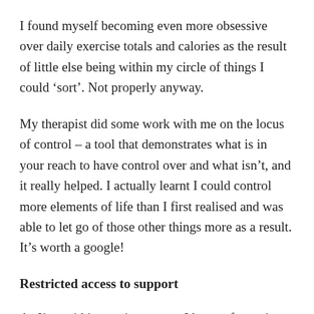I found myself becoming even more obsessive over daily exercise totals and calories as the result of little else being within my circle of things I could ‘sort’. Not properly anyway.
My therapist did some work with me on the locus of control – a tool that demonstrates what is in your reach to have control over and what isn’t, and it really helped. I actually learnt I could control more elements of life than I first realised and was able to let go of those other things more as a result. It’s worth a google!
Restricted access to support
As I’ve said in previous posts, I have a fantastic therapist and I rely on her a great deal.